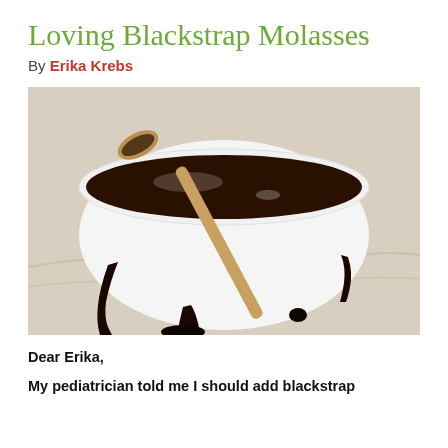Loving Blackstrap Molasses
By Erika Krebs
[Figure (photo): Close-up photo of a white bowl with blackstrap molasses dripping over the sides onto a marble surface, with a wooden spoon resting in the bowl.]
Dear Erika,
My pediatrician told me I should add blackstrap